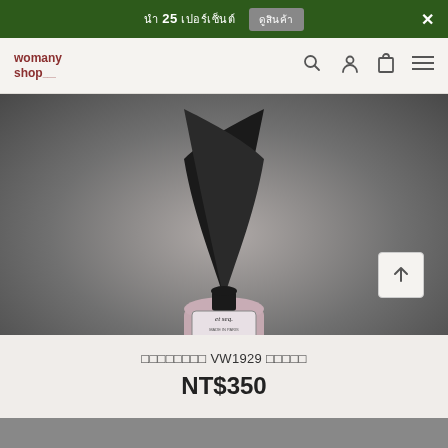นำ 25 เปอร์เซ็น  ดูสินค้า  ✕
[Figure (logo): womany shop logo in dark red text]
[Figure (photo): Product photo: et.seq. ink bottle with black quill feather pen on grey radial gradient background]
วิทยาศาสตร์ VW1929 ชุดเครื่อง
NT$350